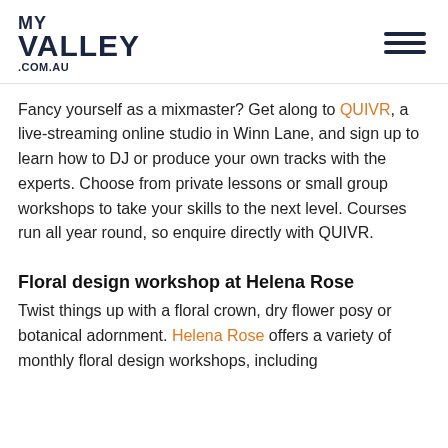MY VALLEY .COM.AU
Fancy yourself as a mixmaster? Get along to QUIVR, a live-streaming online studio in Winn Lane, and sign up to learn how to DJ or produce your own tracks with the experts. Choose from private lessons or small group workshops to take your skills to the next level. Courses run all year round, so enquire directly with QUIVR.
Floral design workshop at Helena Rose
Twist things up with a floral crown, dry flower posy or botanical adornment. Helena Rose offers a variety of monthly floral design workshops, including